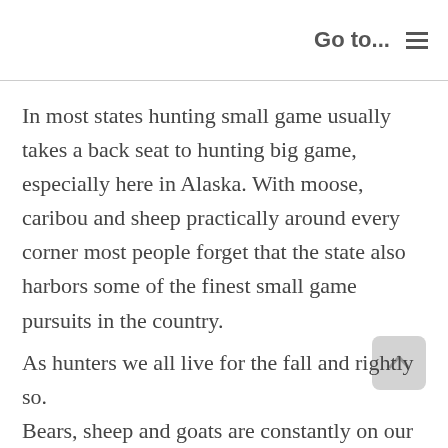Go to...  ☰
In most states hunting small game usually takes a back seat to hunting big game, especially here in Alaska. With moose, caribou and sheep practically around every corner most people forget that the state also harbors some of the finest small game pursuits in the country.
As hunters we all live for the fall and rightly so. Bears, sheep and goats are constantly on our